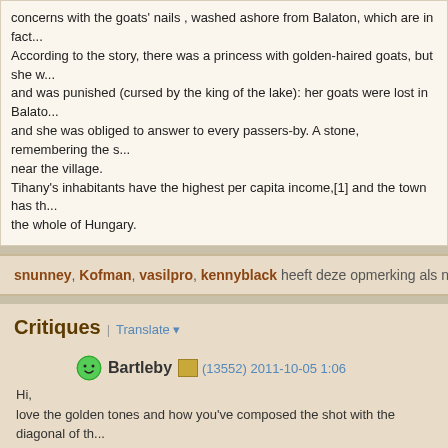concerns with the goats' nails , washed ashore from Balaton, which are in fact... According to the story, there was a princess with golden-haired goats, but she w... and was punished (cursed by the king of the lake): her goats were lost in Balato... and she was obliged to answer to every passers-by. A stone, remembering the s... near the village. Tihany's inhabitants have the highest per capita income,[1] and the town has th... the whole of Hungary.
snunney, Kofman, vasilpro, kennyblack heeft deze opmerking als nuttig gem...
Critiques | Translate
Bartleby (13552) 2011-10-05 1:06
Hi,
love the golden tones and how you've composed the shot with the diagonal of th...
This is a very serene scenery. One tiny thing though: it seems the horizon is slig...

Philippe
dta (98848) 2011-10-05 1:11
Hello Csaba ,